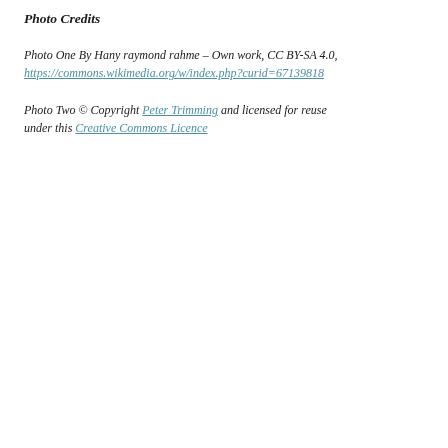Photo Credits
Photo One By Hany raymond rahme – Own work, CC BY-SA 4.0, https://commons.wikimedia.org/w/index.php?curid=67139818
Photo Two © Copyright Peter Trimming and licensed for reuse under this Creative Commons Licence